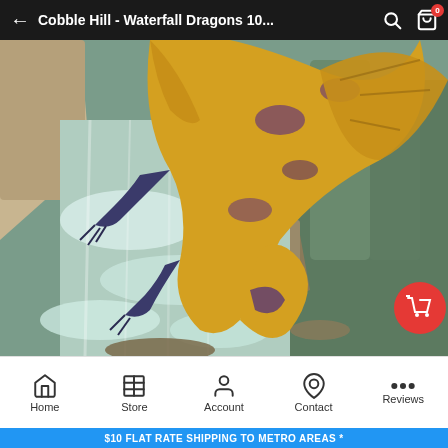← Cobble Hill - Waterfall Dragons 10...
[Figure (photo): Fantasy illustration of a gold and purple dragon soaring over a rushing waterfall with rocky cliffs and green mountains in the background.]
Home | Store | Account | Contact | Reviews
$10 FLAT RATE SHIPPING TO METRO AREAS *